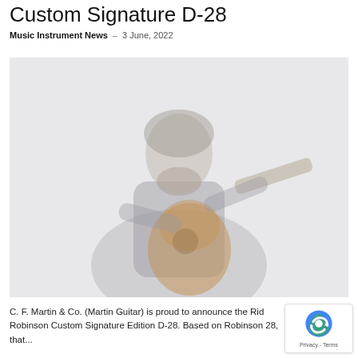Custom Signature D-28
Music Instrument News – 3 June, 2022
[Figure (photo): Faded/washed-out photo of a man with long hair and beard playing an acoustic guitar, wearing a dark jacket, against a light background.]
C. F. Martin & Co. (Martin Guitar) is proud to announce the Rid Robinson Custom Signature Edition D-28. Based on Robinson 28, that...